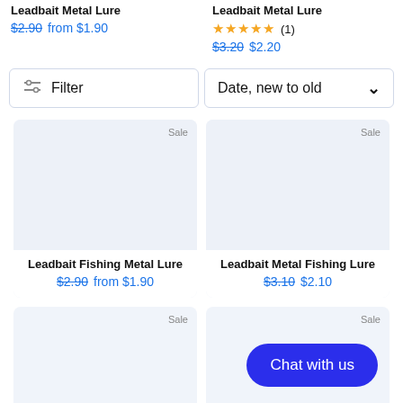Leadbait Metal Lure (partial, top-left) — $2.90 from $1.90
Leadbait Metal Lure (partial, top-right) — ★★★★★ (1) — $3.20 $2.20
Filter | Date, new to old
Leadbait Fishing Metal Lure — $2.90 from $1.90 (Sale)
Leadbait Metal Fishing Lure — $3.10 $2.10 (Sale)
Sale (bottom-left card)
Sale (bottom-right card) — Chat with us button